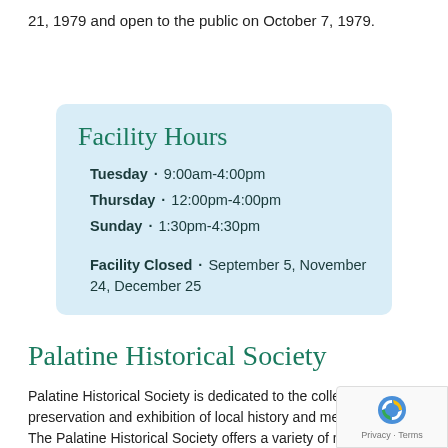21, 1979 and open to the public on October 7, 1979.
Facility Hours
Tuesday · 9:00am-4:00pm
Thursday · 12:00pm-4:00pm
Sunday · 1:30pm-4:30pm
Facility Closed · September 5, November 24, December 25
Palatine Historical Society
Palatine Historical Society is dedicated to the collection, preservation and exhibition of local history and memorabilia. The Palatine Historical Society offers a variety of meetings and special events throughout the year including a Holiday Open House, Victorian Teas, and a Cemetery Walk.